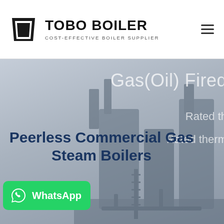[Figure (logo): TOBO BOILER logo with black geometric trapezoid icon and bold uppercase text, subtitle reads COST-EFFECTIVE BOILER SUPPLIER]
[Figure (screenshot): Website screenshot showing a hero banner with partial text Gas(Oil) Fired, Rated th..., Rated therm... overlaid on a grey industrial boiler machinery background]
Peerless Commercial Gas Steam Boilers
[Figure (other): WhatsApp contact button in green with WhatsApp logo icon and text WhatsApp]